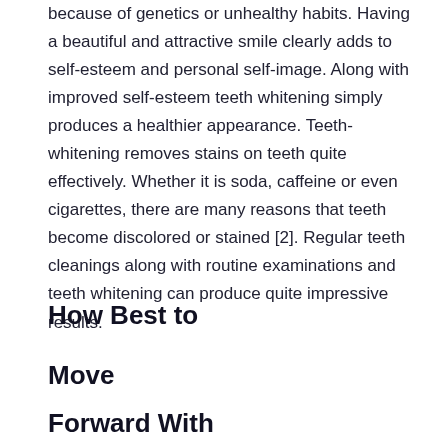because of genetics or unhealthy habits. Having a beautiful and attractive smile clearly adds to self-esteem and personal self-image. Along with improved self-esteem teeth whitening simply produces a healthier appearance. Teeth-whitening removes stains on teeth quite effectively. Whether it is soda, caffeine or even cigarettes, there are many reasons that teeth become discolored or stained [2]. Regular teeth cleanings along with routine examinations and teeth whitening can produce quite impressive results.
How Best to Move Forward With